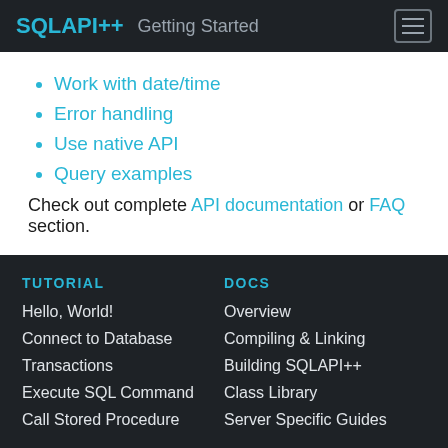SQLAPI++  Getting Started
Work with date/time
Error handling
Use native API
Query examples
Check out complete API documentation or FAQ section.
TUTORIAL
DOCS
Hello, World!
Overview
Connect to Database
Compiling & Linking
Transactions
Building SQLAPI++
Execute SQL Command
Class Library
Call Stored Procedure
Server Specific Guides